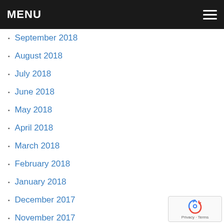MENU
September 2018
August 2018
July 2018
June 2018
May 2018
April 2018
March 2018
February 2018
January 2018
December 2017
November 2017
October 2017
September 2017